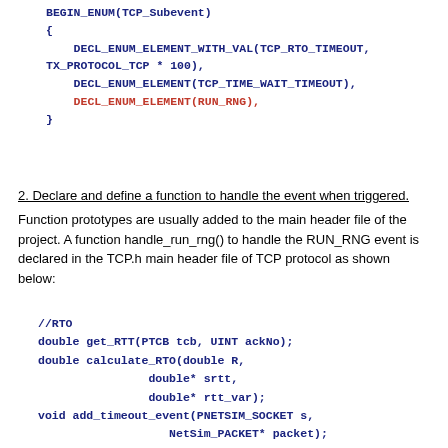BEGIN_ENUM(TCP_Subevent)
{
    DECL_ENUM_ELEMENT_WITH_VAL(TCP_RTO_TIMEOUT,
TX_PROTOCOL_TCP * 100),
    DECL_ENUM_ELEMENT(TCP_TIME_WAIT_TIMEOUT),
    DECL_ENUM_ELEMENT(RUN_RNG),
}
2. Declare and define a function to handle the event when triggered.
Function prototypes are usually added to the main header file of the project. A function handle_run_rng() to handle the RUN_RNG event is declared in the TCP.h main header file of TCP protocol as shown below:
//RTO
double get_RTT(PTCB tcb, UINT ackNo);
double calculate_RTO(double R,
                double* srtt,
                double* rtt_var);
void add_timeout_event(PNETSIM_SOCKET s,
                NetSim_PACKET* packet);
void handle_rto_timer();